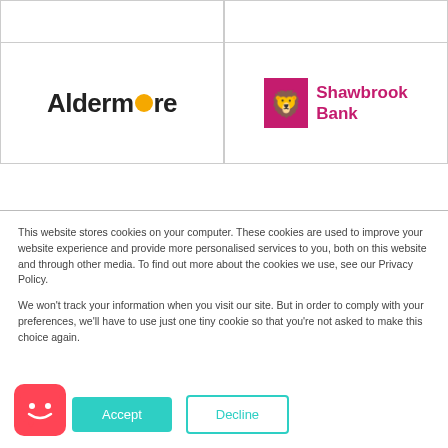[Figure (logo): Empty top-left grid cell]
[Figure (logo): Empty top-right grid cell]
[Figure (logo): Aldermore bank logo - black bold text with orange dot replacing the 'o']
[Figure (logo): Shawbrook Bank logo - magenta/pink lion icon and text]
This website stores cookies on your computer. These cookies are used to improve your website experience and provide more personalised services to you, both on this website and through other media. To find out more about the cookies we use, see our Privacy Policy.
We won't track your information when you visit our site. But in order to comply with your preferences, we'll have to use just one tiny cookie so that you're not asked to make this choice again.
[Figure (illustration): Red/pink chatbot icon with smiley face]
Accept
Decline